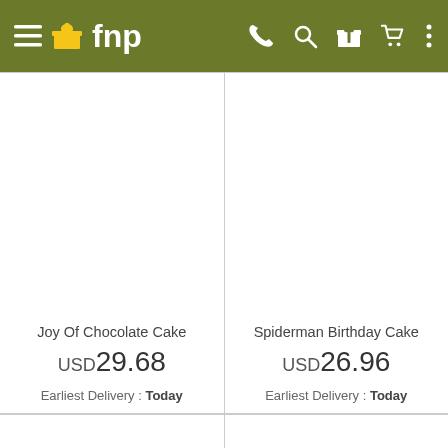[Figure (screenshot): FNP (Ferns N Petals) mobile app navigation bar with hamburger menu, logo, phone, search, gift, cart, and more icons on olive/dark yellow-green background]
Joy Of Chocolate Cake
USD 29.68
Earliest Delivery : Today
Spiderman Birthday Cake
USD 26.96
Earliest Delivery : Today